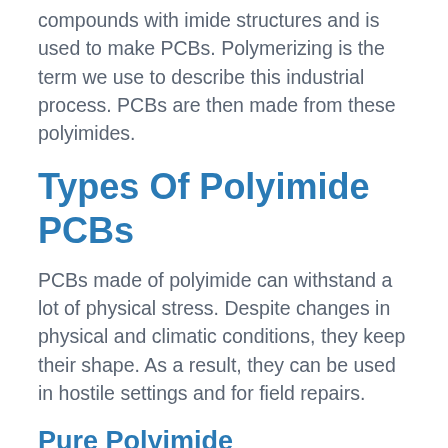compounds with imide structures and is used to make PCBs. Polymerizing is the term we use to describe this industrial process. PCBs are then made from these polyimides.
Types Of Polyimide PCBs
PCBs made of polyimide can withstand a lot of physical stress. Despite changes in physical and climatic conditions, they keep their shape. As a result, they can be used in hostile settings and for field repairs.
Pure Polyimide
This is the most basic PCB, with no extra features like brominated flame retardants. While most materials are “lacking,” pure